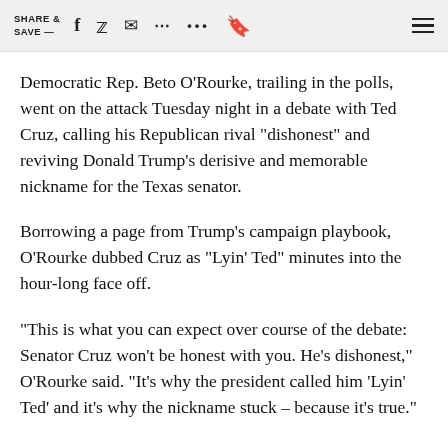SHARE & SAVE —
Democratic Rep. Beto O'Rourke, trailing in the polls, went on the attack Tuesday night in a debate with Ted Cruz, calling his Republican rival "dishonest" and reviving Donald Trump's derisive and memorable nickname for the Texas senator.
Borrowing a page from Trump's campaign playbook, O'Rourke dubbed Cruz as "Lyin' Ted" minutes into the hour-long face off.
"This is what you can expect over course of the debate: Senator Cruz won't be honest with you. He's dishonest," O'Rourke said. "It's why the president called him 'Lyin' Ted' and it's why the nickname stuck – because it's true."